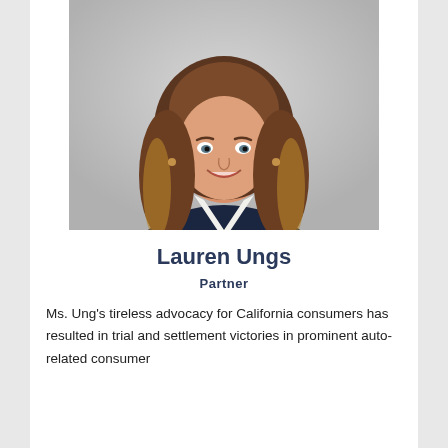[Figure (photo): Professional headshot of Lauren Ungs, a woman with long wavy brown-blonde hair, smiling, wearing a dark navy blazer and white blouse, against a light gray background]
Lauren Ungs
Partner
Ms. Ung's tireless advocacy for California consumers has resulted in trial and settlement victories in prominent auto-related consumer